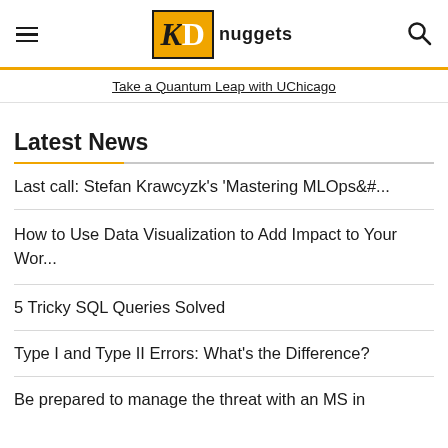KD nuggets
Take a Quantum Leap with UChicago
Latest News
Last call: Stefan Krawcyzk's ‘Mastering MLOps&#…
How to Use Data Visualization to Add Impact to Your Wor…
5 Tricky SQL Queries Solved
Type I and Type II Errors: What’s the Difference?
Be prepared to manage the threat with an MS in